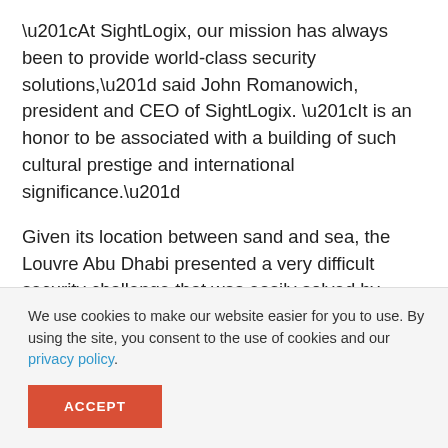“At SightLogix, our mission has always been to provide world-class security solutions,” said John Romanowich, president and CEO of SightLogix. “It is an honor to be associated with a building of such cultural prestige and international significance.”
Given its location between sand and sea, the Louvre Abu Dhabi presented a very difficult security challenge that was easily solved by SightLogix. SightSensor smart thermal cameras provide volumetric coverage over water and do not require fences or clearly defined perimeters. They detect intruders with great accuracy,
We use cookies to make our website easier for you to use. By using the site, you consent to the use of cookies and our privacy policy.
ACCEPT